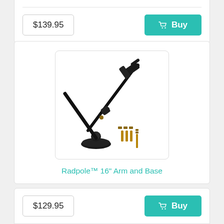$139.95
Buy
[Figure (photo): Radpole 16 inch arm and base product photo showing a black adjustable arm with mounting base, ball joint, and hardware accessories including screws and washers]
Radpole™ 16" Arm and Base
$129.95
Buy